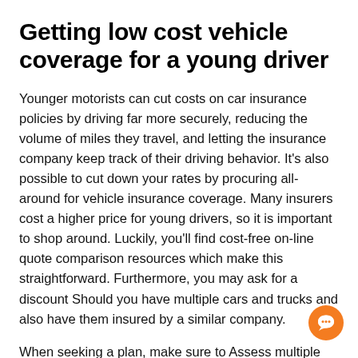Getting low cost vehicle coverage for a young driver
Younger motorists can cut costs on car insurance policies by driving far more securely, reducing the volume of miles they travel, and letting the insurance company keep track of their driving behavior. It's also possible to cut down your rates by procuring all-around for vehicle insurance coverage. Many insurers cost a higher price for young drivers, so it is important to shop around. Luckily, you'll find cost-free on-line quote comparison resources which make this straightforward. Furthermore, you may ask for a discount Should you have multiple cars and trucks and also have them insured by a similar company.
When seeking a plan, make sure to Assess multiple estimates and pick the greatest worth and high quality. It's also possible to try to find an insurance agent who will
[Figure (other): Orange circular chat button with a chat bubble icon in the bottom right corner]